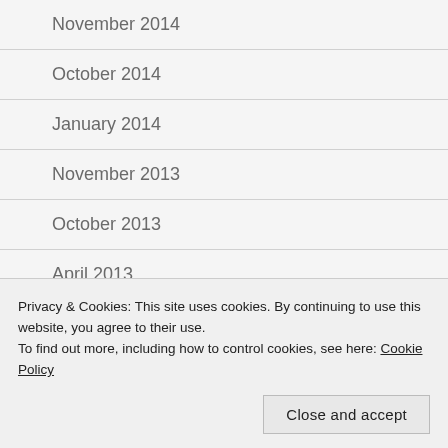November 2014
October 2014
January 2014
November 2013
October 2013
April 2013
December 2012
November 2012
November 2011
Privacy & Cookies: This site uses cookies. By continuing to use this website, you agree to their use.
To find out more, including how to control cookies, see here: Cookie Policy
Close and accept